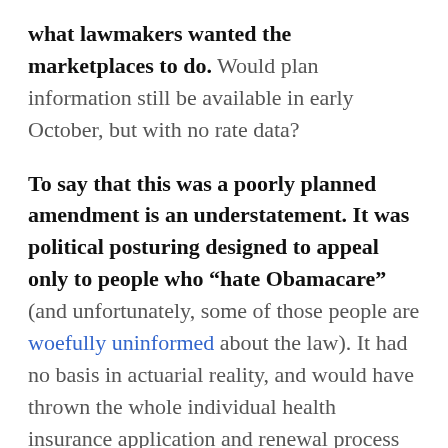what lawmakers wanted the marketplaces to do. Would plan information still be available in early October, but with no rate data?
To say that this was a poorly planned amendment is an understatement. It was political posturing designed to appeal only to people who “hate Obamacare” (and unfortunately, some of those people are woefully uninformed about the law). It had no basis in actuarial reality, and would have thrown the whole individual health insurance application and renewal process into turmoil.